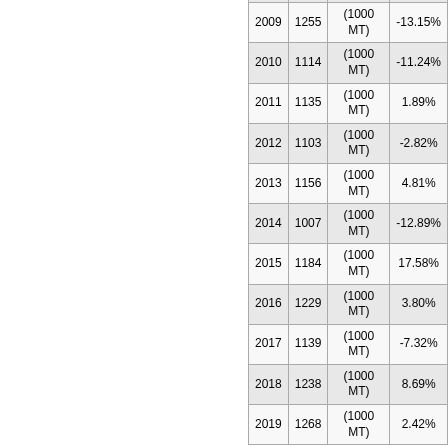| Year | Value | Unit | Change |
| --- | --- | --- | --- |
| 2008 | 1445 | (1000 MT) | 24.46% |
| 2009 | 1255 | (1000 MT) | -13.15% |
| 2010 | 1114 | (1000 MT) | -11.24% |
| 2011 | 1135 | (1000 MT) | 1.89% |
| 2012 | 1103 | (1000 MT) | -2.82% |
| 2013 | 1156 | (1000 MT) | 4.81% |
| 2014 | 1007 | (1000 MT) | -12.89% |
| 2015 | 1184 | (1000 MT) | 17.58% |
| 2016 | 1229 | (1000 MT) | 3.80% |
| 2017 | 1139 | (1000 MT) | -7.32% |
| 2018 | 1238 | (1000 MT) | 8.69% |
| 2019 | 1268 | (1000 MT) | 2.42% |